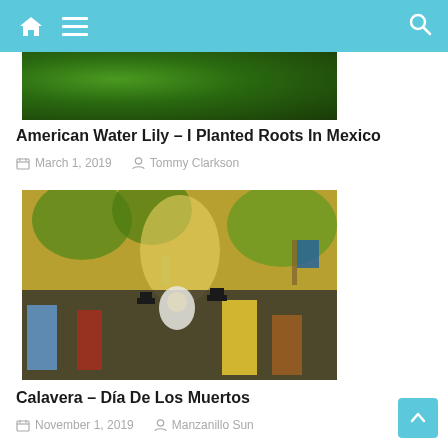Navigation bar with home icon, menu icon, and search icon
[Figure (photo): Close-up photo of a large green leaf (American Water Lily) showing texture and dark background]
American Water Lily – I Planted Roots In Mexico
March 1, 2019   Tommy Clarkson
[Figure (photo): Diego Rivera mural depicting a crowd of historical Mexican figures in traditional and formal clothing, with colorful background of trees and a fountain]
Calavera – Día De Los Muertos
November 1, 2019   Manzanillo Sun